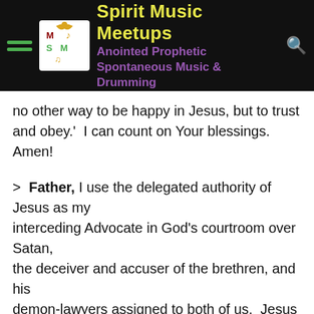Spirit Music Meetups — Anointed Prophetic Spontaneous Music & Drumming
no other way to be happy in Jesus, but to trust and obey.'  I can count on Your blessings. Amen!
› Father, I use the delegated authority of Jesus as my interceding Advocate in God's courtroom over Satan, the deceiver and accuser of the brethren, and his demon-lawyers assigned to both of us.  Jesus has nailed their legal case against me concerning this person's sins __ to Christ's cross, thus cancelling it out and making a public spectacle of these lawyers in God's courtroom.  The case files of sins against me from this person __ and my unforgiveness of them are both covered by the atoning blood of Jesus.  I have trusting-relying-faith that all these sins are transferred to